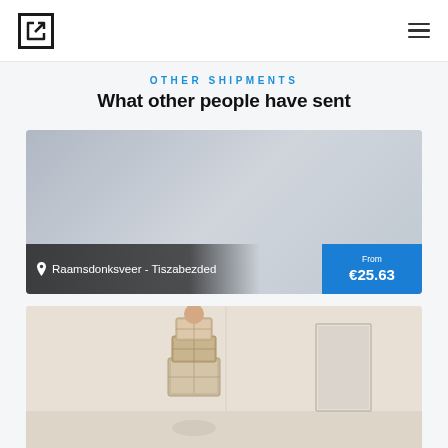OTHER SHIPMENTS
What other people have sent
[Figure (photo): Shipment card showing route from Raamsdonksveer to Tiszabezded with price from €25.63, gray placeholder image background]
[Figure (photo): Partially visible shipment card showing a person carrying stacked cardboard boxes, light beige background]